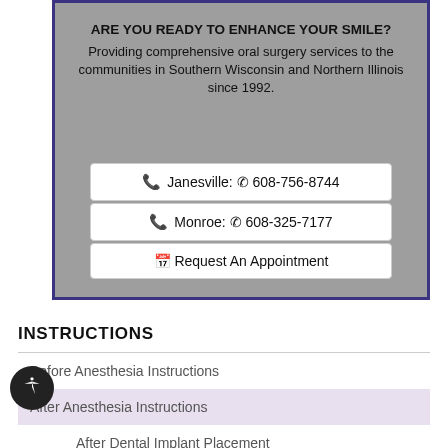ARE YOU READY TO ENHANCE YOUR SMILE?
Providing comprehensive oral surgery services to the communities in Southern Wisconsin and Northern Illinois since 1992.
Janesville: 608-756-8744
Monroe: 608-325-7177
Request An Appointment
INSTRUCTIONS
Before Anesthesia Instructions
After Anesthesia Instructions
After Dental Implant Placement
After Wisdom Teeth Removal